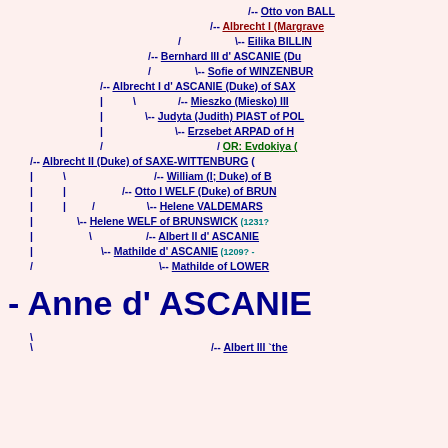[Figure (other): Genealogical tree diagram showing ancestry of Anne d'ASCANIE, with names connected by lines and slashes indicating parent-child relationships. Names are hyperlinked in dark blue, red, or green colors.]